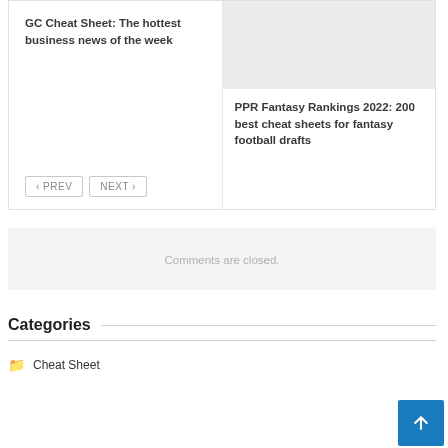GC Cheat Sheet: The hottest business news of the week
PPR Fantasy Rankings 2022: 200 best cheat sheets for fantasy football drafts
[Figure (illustration): Navigation buttons: PREV and NEXT]
Comments are closed.
Categories
Cheat Sheet